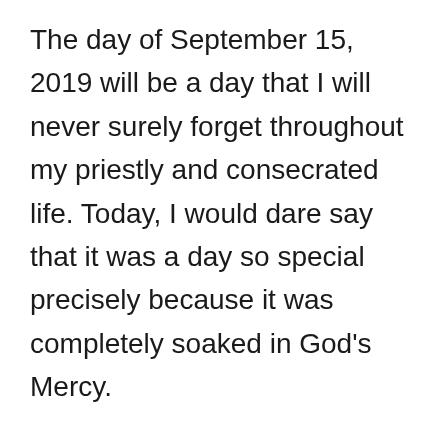The day of September 15, 2019 will be a day that I will never surely forget throughout my priestly and consecrated life. Today, I would dare say that it was a day so special precisely because it was completely soaked in God's Mercy.
Already the Good Lord has been preparing me for his wonderful surprises that He decided to lavish on me, an unworthy servant of His, from the day before. I remember that on Saturday September 14, feast of the Exaltation of the Holy